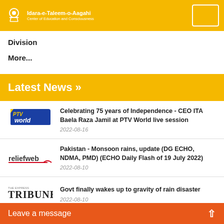Idara-e-Taleem-o-Aagahi - Center of Education and Consciousness
Division
More...
Latest News »
[Figure (logo): PTV World logo]
Celebrating 75 years of Independence - CEO ITA Baela Raza Jamil at PTV World live session
2022-08-16
[Figure (logo): reliefweb logo]
Pakistan - Monsoon rains, update (DG ECHO, NDMA, PMD) (ECHO Daily Flash of 19 July 2022)
2022-08-10
[Figure (logo): The Express Tribune logo]
Govt finally wakes up to gravity of rain disaster
2022-08-10
Leave a message